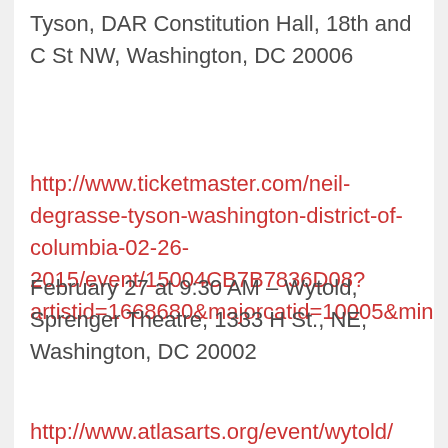Tyson, DAR Constitution Hall, 18th and C St NW, Washington, DC 20006
http://www.ticketmaster.com/neil-degrasse-tyson-washington-district-of-columbia-02-26-2015/event/15004CB7B7836D08?artistid=1668680&majorcatid=10005&minor
February 27 at 9:30 AM – Wytold, Sprenger Theatre, 1333 H St., NE, Washington, DC 20002
http://www.atlasarts.org/event/wytold/